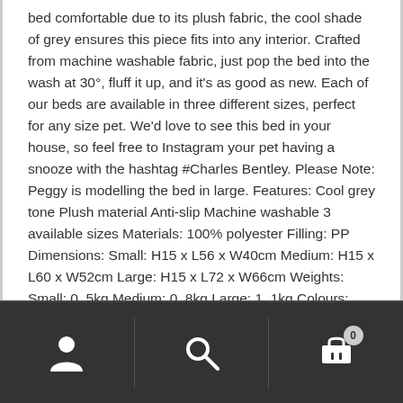bed comfortable due to its plush fabric, the cool shade of grey ensures this piece fits into any interior. Crafted from machine washable fabric, just pop the bed into the wash at 30°, fluff it up, and it's as good as new. Each of our beds are available in three different sizes, perfect for any size pet. We'd love to see this bed in your house, so feel free to Instagram your pet having a snooze with the hashtag #Charles Bentley. Please Note: Peggy is modelling the bed in large. Features: Cool grey tone Plush material Anti-slip Machine washable 3 available sizes Materials: 100% polyester Filling: PP Dimensions: Small: H15 x L56 x W40cm Medium: H15 x L60 x W52cm Large: H15 x L72 x W66cm Weights: Small: 0. 5kg Medium: 0. 8kg Large: 1. 1kg Colours: Grey
Navigation bar with user, search, and cart icons